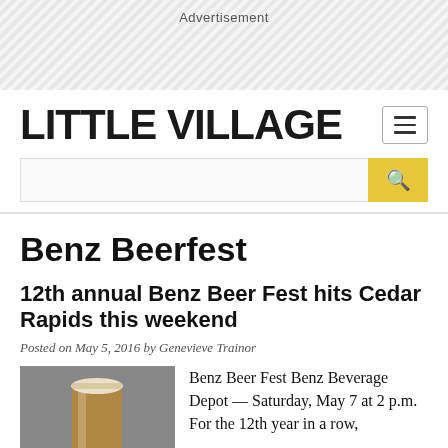Advertisement
LITTLE VILLAGE
Benz Beerfest
12th annual Benz Beer Fest hits Cedar Rapids this weekend
Posted on May 5, 2016 by Genevieve Trainor
[Figure (photo): Photo of a pint glass of golden beer on a grey background]
Benz Beer Fest Benz Beverage Depot — Saturday, May 7 at 2 p.m. For the 12th year in a row,